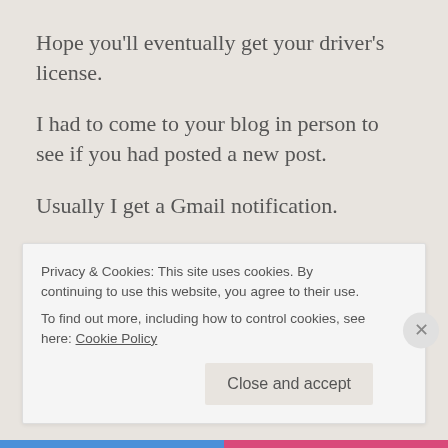Hope you'll eventually get your driver's license.
I had to come to your blog in person to see if you had posted a new post.
Usually I get a Gmail notification.
But for some reason, my Gmail hasn't received any emails the past 24 hours.
So I'm kind of wondering what's up with that.
Privacy & Cookies: This site uses cookies. By continuing to use this website, you agree to their use.
To find out more, including how to control cookies, see here: Cookie Policy
Close and accept